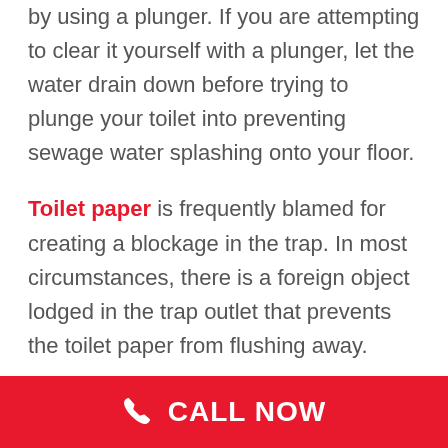by using a plunger. If you are attempting to clear it yourself with a plunger, let the water drain down before trying to plunge your toilet into preventing sewage water splashing onto your floor.
Toilet paper is frequently blamed for creating a blockage in the trap. In most circumstances, there is a foreign object lodged in the trap outlet that prevents the toilet paper from flushing away.
If you are experiencing frequent blockages to your toilet, then you have
CALL NOW